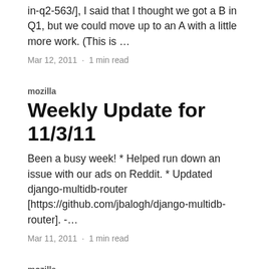in-q2-563/], I said that I thought we got a B in Q1, but we could move up to an A with a little more work. (This is …
Mar 12, 2011 · 1 min read
mozilla
Weekly Update for 11/3/11
Been a busy week! * Helped run down an issue with our ads on Reddit. * Updated django-multidb-router [https://github.com/jbalogh/django-multidb-router]. -…
Mar 11, 2011 · 1 min read
mozilla
Weekly Update 04/03/2011
OK, in line with my 2011 goals [https://coffeeonthekeyboard.com/2011-goals-520/] and because I'm sick of not remembering what I did last